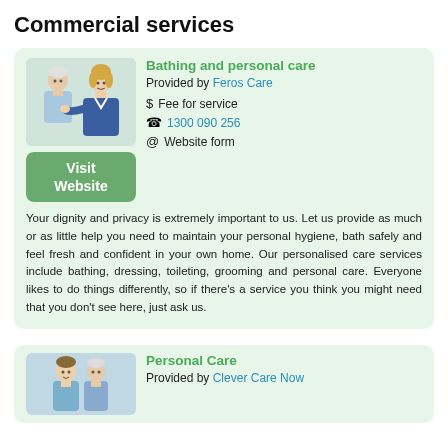Commercial services
[Figure (photo): Healthcare worker assisting elderly person, bathing and personal care service]
Bathing and personal care
Provided by Feros Care
$ Fee for service
1300 090 256
@ Website form
Visit Website
Your dignity and privacy is extremely important to us. Let us provide as much or as little help you need to maintain your personal hygiene, bath safely and feel fresh and confident in your own home. Our personalised care services include bathing, dressing, toileting, grooming and personal care. Everyone likes to do things differently, so if there's a service you think you might need that you don't see here, just ask us.
[Figure (photo): Caregiver and elderly person, personal care service]
Personal Care
Provided by Clever Care Now